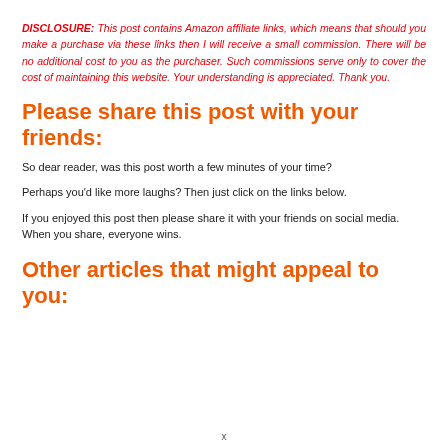DISCLOSURE: This post contains Amazon affiliate links, which means that should you make a purchase via these links then I will receive a small commission. There will be no additional cost to you as the purchaser. Such commissions serve only to cover the cost of maintaining this website. Your understanding is appreciated. Thank you.
Please share this post with your friends:
So dear reader, was this post worth a few minutes of your time?
Perhaps you’d like more laughs? Then just click on the links below.
If you enjoyed this post then please share it with your friends on social media. When you share, everyone wins.
Other articles that might appeal to you:
x